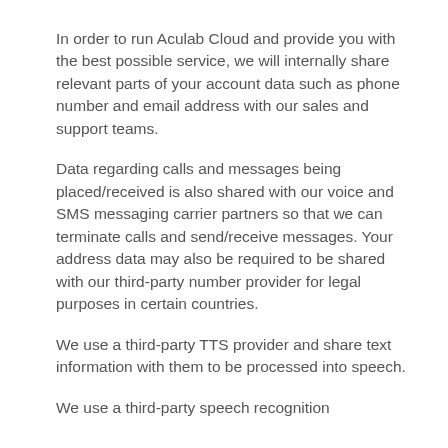In order to run Aculab Cloud and provide you with the best possible service, we will internally share relevant parts of your account data such as phone number and email address with our sales and support teams.
Data regarding calls and messages being placed/received is also shared with our voice and SMS messaging carrier partners so that we can terminate calls and send/receive messages. Your address data may also be required to be shared with our third-party number provider for legal purposes in certain countries.
We use a third-party TTS provider and share text information with them to be processed into speech.
We use a third-party speech recognition